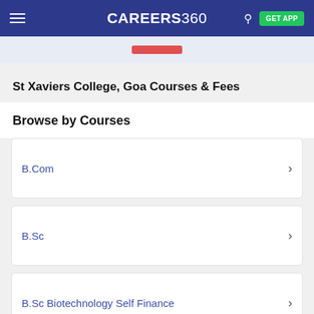CAREERS360
St Xaviers College, Goa Courses & Fees
Browse by Courses
B.Com
B.Sc
B.Sc Biotechnology Self Finance